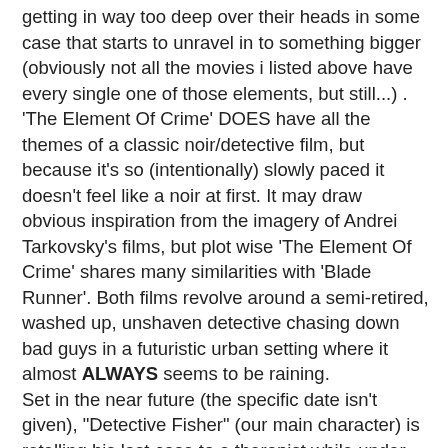getting in way too deep over their heads in some case that starts to unravel in to something bigger (obviously not all the movies i listed above have every single one of those elements, but still...) . 'The Element Of Crime' DOES have all the themes of a classic noir/detective film, but because it's so (intentionally) slowly paced it doesn't feel like a noir at first. It may draw obvious inspiration from the imagery of Andrei Tarkovsky's films, but plot wise 'The Element Of Crime' shares many similarities with 'Blade Runner'. Both films revolve around a semi-retired, washed up, unshaven detective chasing down bad guys in a futuristic urban setting where it almost ALWAYS seems to be raining. Set in the near future (the specific date isn't given), "Detective Fisher" (our main character) is retelling his last case to a therapist while under hypnosis (its unclear weather he's in a mental institution or in a therapist session). In an unnamed European city, there's a serial killer ("Harry Gray") on the loose mutilating young girls. When no one else can solve the case, Fisher is called out of retirement by his mentor ("Osbourne") to find the killer (this aspect of the story is similar to 'Blade Runner' in that Harrison Ford is pulled out of what seems to be retirement to find rogue androids). The